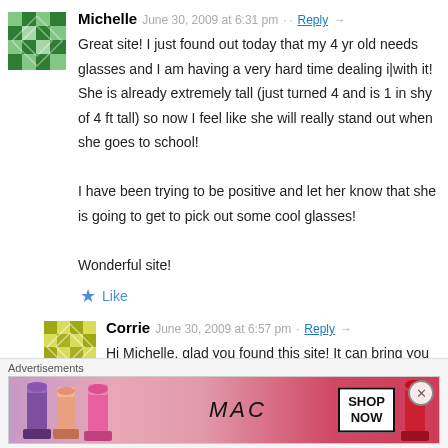[Figure (illustration): Green geometric pattern avatar for Michelle]
Michelle   June 30, 2009 at 6:31 pm   Reply →
Great site! I just found out today that my 4 yr old needs glasses and I am having a very hard time dealing i|with it! She is already extremely tall (just turned 4 and is 1 in shy of 4 ft tall) so now I feel like she will really stand out when she goes to school!

I have been trying to be positive and let her know that she is going to get to pick out some cool glasses!

Wonderful site!
★ Like
[Figure (illustration): Yellow/green geometric pattern avatar for Corrie]
Corrie   June 30, 2009 at 6:57 pm   Reply →
Hi Michelle, glad you found this site! It can bring you a lot of encouragement and help! I know it is tough when we have to
Advertisements
[Figure (photo): MAC cosmetics advertisement with lipsticks and Shop Now button]